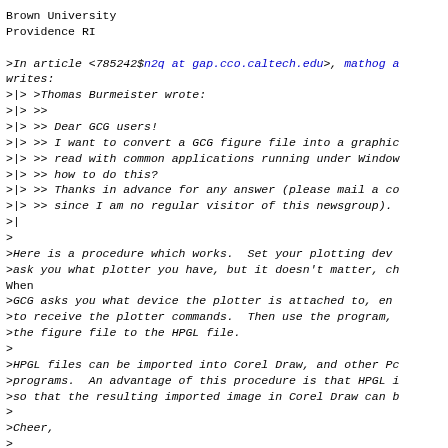Brown University
Providence RI
>In article <785242$n2q at gap.cco.caltech.edu>, mathog a
writes:
>|> >Thomas Burmeister wrote:
>|> >>
>|> >> Dear GCG users!
>|> >> I want to convert a GCG figure file into a graphic
>|> >> read with common applications running under Window
>|> >> how to do this?
>|> >> Thanks in advance for any answer (please mail a co
>|> >> since I am no regular visitor of this newsgroup).
>|
>
>Here is a procedure which works.  Set your plotting dev
>ask you what plotter you have, but it doesn't matter, ch
When
>GCG asks you what device the plotter is attached to, en
>to receive the plotter commands.  Then use the program,
>the figure file to the HPGL file.
>
>HPGL files can be imported into Corel Draw, and other P
>programs.  An advantage of this procedure is that HPGL
>so that the resulting imported image in Corel Draw can b
>
>Cheer,
>
>Ellis Golub
>